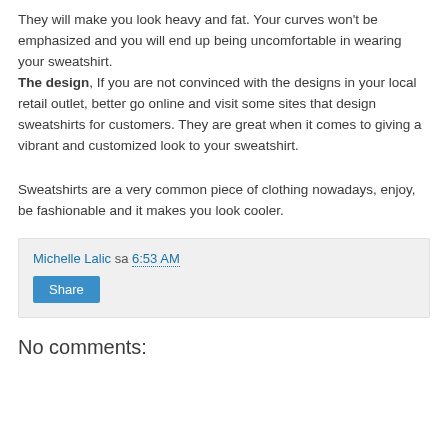They will make you look heavy and fat. Your curves won't be emphasized and you will end up being uncomfortable in wearing your sweatshirt. The design, If you are not convinced with the designs in your local retail outlet, better go online and visit some sites that design sweatshirts for customers. They are great when it comes to giving a vibrant and customized look to your sweatshirt.
Sweatshirts are a very common piece of clothing nowadays, enjoy, be fashionable and it makes you look cooler.
Michelle Lalic sa 6:53 AM — Share
No comments: